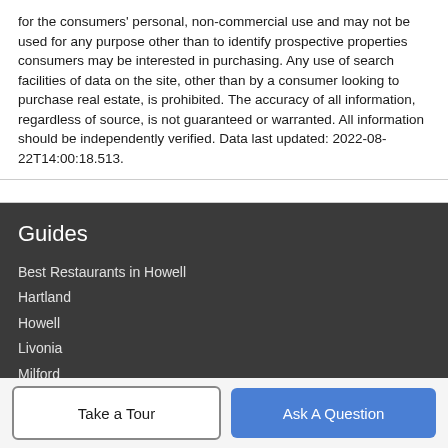for the consumers' personal, non-commercial use and may not be used for any purpose other than to identify prospective properties consumers may be interested in purchasing. Any use of search facilities of data on the site, other than by a consumer looking to purchase real estate, is prohibited. The accuracy of all information, regardless of source, is not guaranteed or warranted. All information should be independently verified. Data last updated: 2022-08-22T14:00:18.513.
Guides
Best Restaurants in Howell
Hartland
Howell
Livonia
Milford
More Guides ›